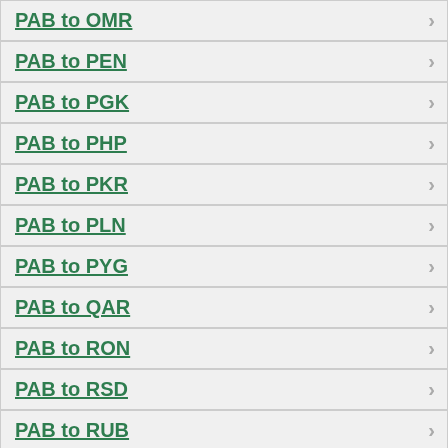PAB to OMR
PAB to PEN
PAB to PGK
PAB to PHP
PAB to PKR
PAB to PLN
PAB to PYG
PAB to QAR
PAB to RON
PAB to RSD
PAB to RUB
PAB to RWF